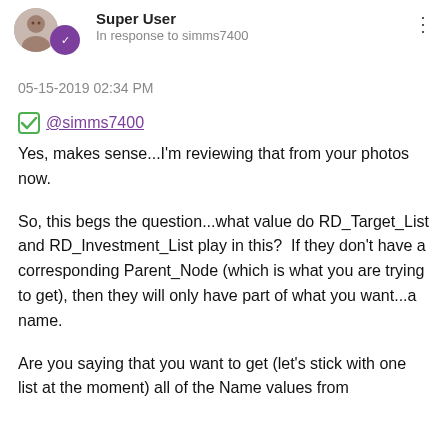Super User
In response to simms7400
05-15-2019 02:34 PM
@simms7400
Yes, makes sense...I'm reviewing that from your photos now.
So, this begs the question...what value do RD_Target_List and RD_Investment_List play in this?  If they don't have a corresponding Parent_Node (which is what you are trying to get), then they will only have part of what you want...a name.
Are you saying that you want to get (let's stick with one list at the moment) all of the Name values from